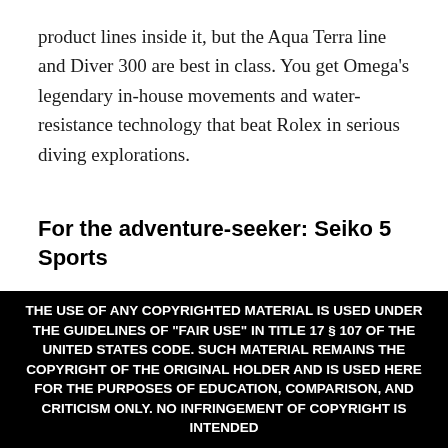product lines inside it, but the Aqua Terra line and Diver 300 are best in class. You get Omega's legendary in-house movements and water-resistance technology that beat Rolex in serious diving explorations.
For the adventure-seeker: Seiko 5 Sports
[Figure (photo): Close-up photo of a backlit gaming keyboard with orange and red lighting, dark background with purple hues]
THE USE OF ANY COPYRIGHTED MATERIAL IS USED UNDER THE GUIDELINES OF "FAIR USE" IN TITLE 17 § 107 OF THE UNITED STATES CODE. SUCH MATERIAL REMAINS THE COPYRIGHT OF THE ORIGINAL HOLDER AND IS USED HERE FOR THE PURPOSES OF EDUCATION, COMPARISON, AND CRITICISM ONLY. NO INFRINGEMENT OF COPYRIGHT IS INTENDED